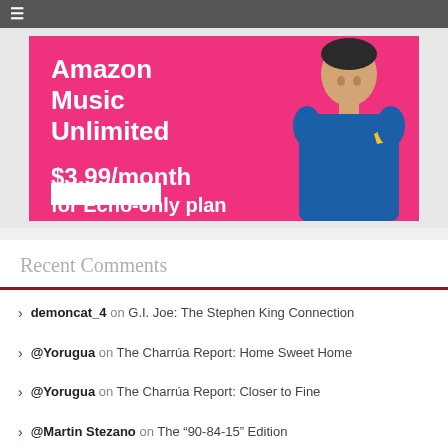[Figure (other): Amazon Music Unlimited advertisement banner with pink background, person in blue shirt, text: Amazon Music Unlimited $3.99/month for Echo-only plan]
Recent Comments
demoncat_4 on G.I. Joe: The Stephen King Connection
@Yorugua on The Charrúa Report: Home Sweet Home
@Yorugua on The Charrúa Report: Closer to Fine
@Martin Stezano on The “90-84-15” Edition